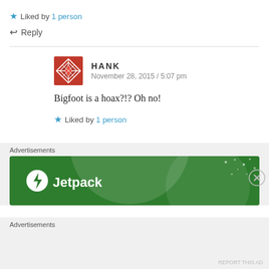★ Liked by 1 person
↩ Reply
HANK
November 28, 2015 / 5:07 pm
Bigfoot is a hoax?!? Oh no!
★ Liked by 1 person
Advertisements
[Figure (logo): Jetpack advertisement banner with green background, circular light element, white dots, and Jetpack logo with lightning bolt icon]
Advertisements